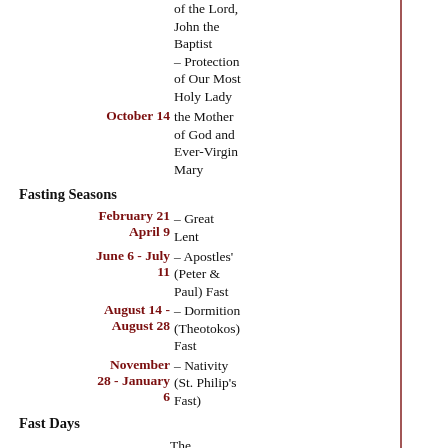of the Lord, John the Baptist – Protection of Our Most Holy Lady
October 14 – the Mother of God and Ever-Virgin Mary
Fasting Seasons
February 21 – April 9 – Great Lent
June 6 - July 11 – Apostles' (Peter & Paul) Fast
August 14 - August 28 – Dormition (Theotokos) Fast
November 28 - January 6 – Nativity (St. Philip's Fast)
Fast Days
The Wednesdays and Fridays of the Year, except for